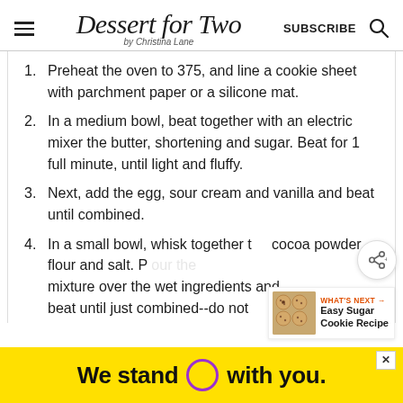Dessert for Two by Christina Lane | SUBSCRIBE
Preheat the oven to 375, and line a cookie sheet with parchment paper or a silicone mat.
In a medium bowl, beat together with an electric mixer the butter, shortening and sugar. Beat for 1 full minute, until light and fluffy.
Next, add the egg, sour cream and vanilla and beat until combined.
In a small bowl, whisk together the cocoa powder, flour and salt. Pour mixture over the wet ingredients and beat until just combined--do not
[Figure (screenshot): What's Next promo box showing Easy Sugar Cookie Recipe with thumbnail image of cookies]
[Figure (screenshot): Yellow advertisement banner: We stand (circle) with you.]